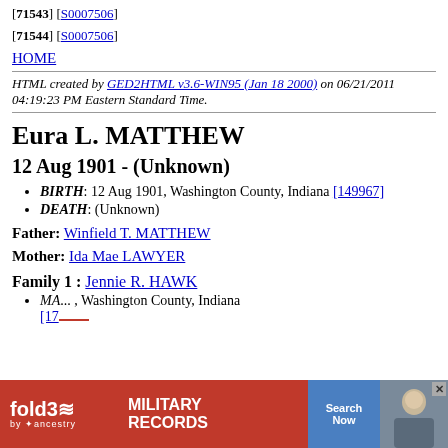[71543] [S0007506]
[71544] [S0007506]
HOME
HTML created by GED2HTML v3.6-WIN95 (Jan 18 2000) on 06/21/2011 04:19:23 PM Eastern Standard Time.
Eura L. MATTHEW
12 Aug 1901 - (Unknown)
BIRTH: 12 Aug 1901, Washington County, Indiana [149967]
DEATH: (Unknown)
Father: Winfield T. MATTHEW
Mother: Ida Mae LAWYER
Family 1 : Jennie R. HAWK
MA... , Washington County, Indiana [176...]